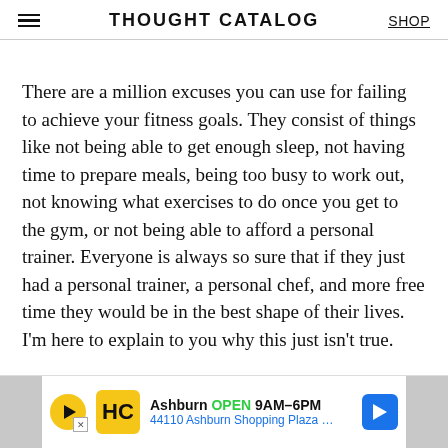THOUGHT CATALOG
There are a million excuses you can use for failing to achieve your fitness goals. They consist of things like not being able to get enough sleep, not having time to prepare meals, being too busy to work out, not knowing what exercises to do once you get to the gym, or not being able to afford a personal trainer. Everyone is always so sure that if they just had a personal trainer, a personal chef, and more free time they would be in the best shape of their lives. I’m here to explain to you why this just isn’t true.
[Figure (other): Advertisement banner: Ashburn OPEN 9AM-6PM, 44110 Ashburn Shopping Plaza...]